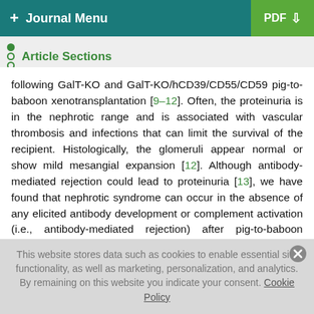+ Journal Menu  PDF ↓
Article Sections
following GalT-KO and GalT-KO/hCD39/CD55/CD59 pig-to-baboon xenotransplantation [9–12]. Often, the proteinuria is in the nephrotic range and is associated with vascular thrombosis and infections that can limit the survival of the recipient. Histologically, the glomeruli appear normal or show mild mesangial expansion [12]. Although antibody-mediated rejection could lead to proteinuria [13], we have found that nephrotic syndrome can occur in the absence of any elicited antibody development or complement activation (i.e., antibody-mediated rejection) after pig-to-baboon xenotransplant [9, 12].
This website stores data such as cookies to enable essential site functionality, as well as marketing, personalization, and analytics. By remaining on this website you indicate your consent. Cookie Policy